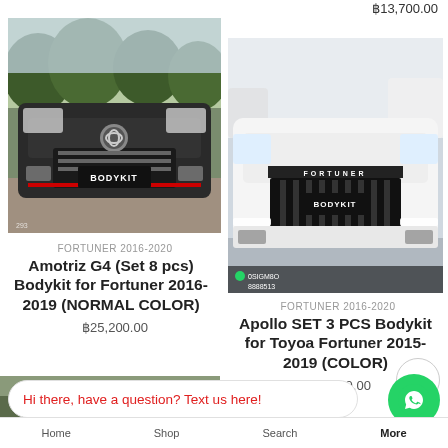฿13,700.00
[Figure (photo): Front view of a dark-colored Toyota Fortuner with Bodykit body kit installed, license plate area shows BODYKIT branding]
FORTUNER 2016-2020
Amotriz G4 (Set 8 pcs) Bodykit for Fortuner 2016-2019  (NORMAL COLOR)
฿25,200.00
[Figure (photo): Front view of a white Toyota Fortuner with Apollo body kit installed, license plate area shows BODYKIT branding, contact numbers visible at bottom]
FORTUNER 2016-2020
Apollo SET 3 PCS Bodykit for Toyoa Fortuner 2015-2019 (COLOR)
฿27,100.00
Hi there, have a question? Text us here!
Home   Shop   Search   More